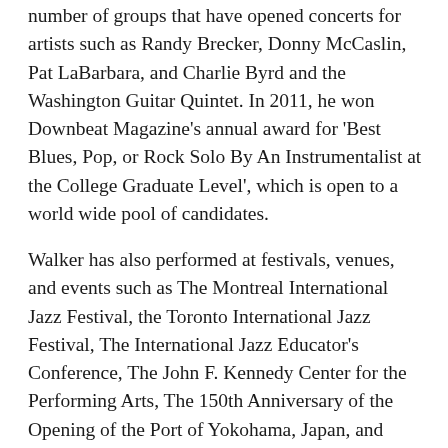number of groups that have opened concerts for artists such as Randy Brecker, Donny McCaslin, Pat LaBarbara, and Charlie Byrd and the Washington Guitar Quintet. In 2011, he won Downbeat Magazine's annual award for 'Best Blues, Pop, or Rock Solo By An Instrumentalist at the College Graduate Level', which is open to a world wide pool of candidates.
Walker has also performed at festivals, venues, and events such as The Montreal International Jazz Festival, the Toronto International Jazz Festival, The International Jazz Educator's Conference, The John F. Kennedy Center for the Performing Arts, The 150th Anniversary of the Opening of the Port of Yokohama, Japan, and many other music venues, both locally and abroad. Since 2010, he has held the guitar chair in the award winning Bohemian Caverns Jazz Orchestra in Washington DC.
Walker earned his undergraduate degree from Virginia